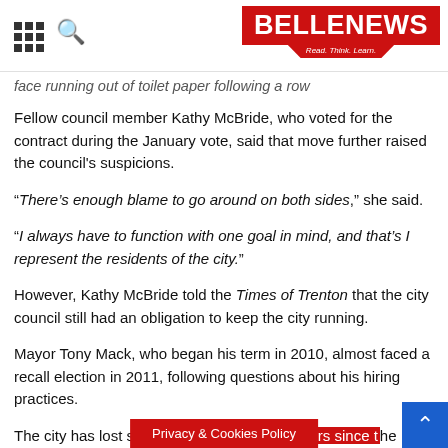BELLENEWS - Read. Think. Learn.
face running out of toilet paper following a row
Fellow council member Kathy McBride, who voted for the contract during the January vote, said that move further raised the council's suspicions.
“There’s enough blame to go around on both sides,” she said.
“I always have to function with one goal in mind, and that’s I represent the residents of the city.”
However, Kathy McBride told the Times of Trenton that the city council still had an obligation to keep the city running.
Mayor Tony Mack, who began his term in 2010, almost faced a recall election in 2011, following questions about his hiring practices.
The city has lost seven business administrators since the beginning of his term, including one who re… …igation of